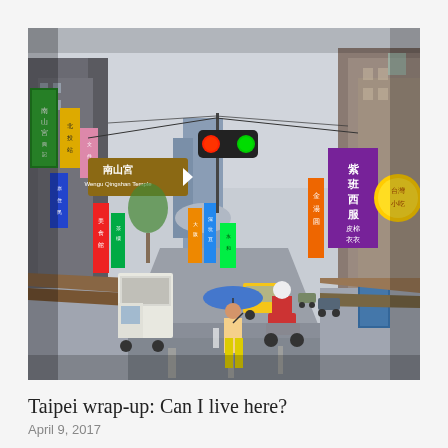[Figure (photo): A busy street scene in Taipei, Taiwan. The street is lined with colorful Chinese-character signboards and banners on both sides. A traffic light showing red and green hangs over the road. A brown directional sign points to '南山宮' (Wengu Qingshan Temple). Motorcyclists and scooter riders are in the foreground on a wet road. Market stalls and shops line both sides. Buildings recede into the distance under a cloudy sky.]
Taipei wrap-up: Can I live here?
April 9, 2017